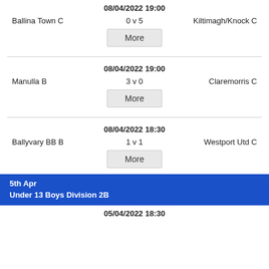08/04/2022 19:00
Ballina Town C   0 v 5   Kiltimagh/Knock C
More
08/04/2022 19:00
Manulla B   3 v 0   Claremorris C
More
08/04/2022 18:30
Ballyvary BB B   1 v 1   Westport Utd C
More
5th Apr
Under 13 Boys Division 2B
05/04/2022 18:30